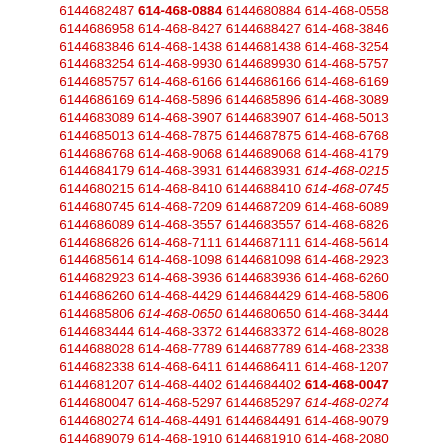6144682487 614-468-0884 6144680884 614-468-0558 6144686958 614-468-8427 6144688427 614-468-3846 6144683846 614-468-1438 6144681438 614-468-3254 6144683254 614-468-9930 6144689930 614-468-5757 6144685757 614-468-6166 6144686166 614-468-6169 6144686169 614-468-5896 6144685896 614-468-3089 6144683089 614-468-3907 6144683907 614-468-5013 6144685013 614-468-7875 6144687875 614-468-6768 6144686768 614-468-9068 6144689068 614-468-4179 6144684179 614-468-3931 6144683931 614-468-0215 6144680215 614-468-8410 6144688410 614-468-0745 6144680745 614-468-7209 6144687209 614-468-6089 6144686089 614-468-3557 6144683557 614-468-6826 6144686826 614-468-7111 6144687111 614-468-5614 6144685614 614-468-1098 6144681098 614-468-2923 6144682923 614-468-3936 6144683936 614-468-6260 6144686260 614-468-4429 6144684429 614-468-5806 6144685806 614-468-0650 6144680650 614-468-3444 6144683444 614-468-3372 6144683372 614-468-8028 6144688028 614-468-7789 6144687789 614-468-2338 6144682338 614-468-6411 6144686411 614-468-1207 6144681207 614-468-4402 6144684402 614-468-0047 6144680047 614-468-5297 6144685297 614-468-0274 6144680274 614-468-4491 6144684491 614-468-9079 6144689079 614-468-1910 6144681910 614-468-2080 6144682080 614-468-2194 6144682194 614-468-9572